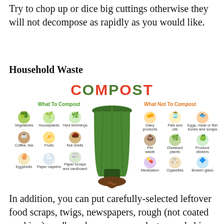Try to chop up or dice big cuttings otherwise they will not decompose as rapidly as you would like.
Household Waste
[Figure (infographic): Compost infographic showing a green compost bin in the center. Left side labeled 'What To Compost' (green text) with items: Vegetables, Houseplants, Yard trimmings, Coffee & tea, Fruits, Nut shells, Eggshells, Paper napkins, Paper scraps and cardboard. Right side labeled 'What Not To Compost' (orange text) with items: Dairy products, Fats and oils, Eggs meat or fish bones and scraps, Pet waste, Diseased plants, Produce stickers, Medication, Cigarettes, Broken glass. The word COMPOST appears at the top in large decorative letters.]
In addition, you can put carefully-selected leftover food scraps, twigs, newspapers, rough (not coated or shiny) cardboard, manure, sawdust, wood chips, tea leaves, coffee